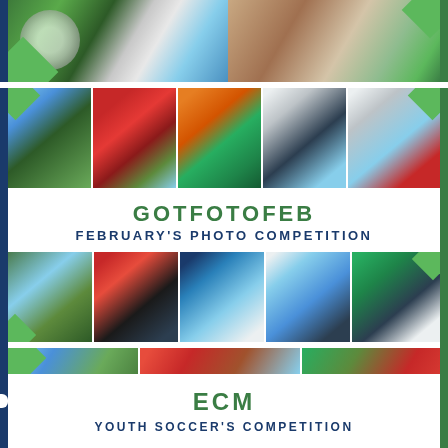[Figure (photo): Top banner with soccer and phone photos on dark blue background with green diagonal accents]
[Figure (photo): Grid collage of soccer action photos across multiple panels]
GOTFOTOFEB
FEBRUARY'S PHOTO COMPETITION
[Figure (photo): Bottom collage row of youth soccer competition photos]
[Figure (photo): Bottom banner with youth soccer photos on dark blue background]
ECM
YOUTH SOCCER'S COMPETITION